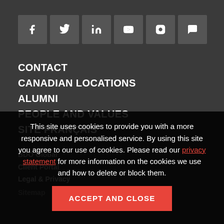[Figure (other): Row of social media icons: Facebook, Twitter, LinkedIn, YouTube, Instagram, Chat/Comment]
CONTACT
CANADIAN LOCATIONS
ALUMNI
PEOPLE AND VALUES
SITE FRANÇAIS
BDO Global
Client Portal
Legal & Privacy
Sitemap
This site uses cookies to provide you with a more responsive and personalised service. By using this site you agree to our use of cookies. Please read our privacy statement for more information on the cookies we use and how to delete or block them.
ACCEPT AND CLOSE